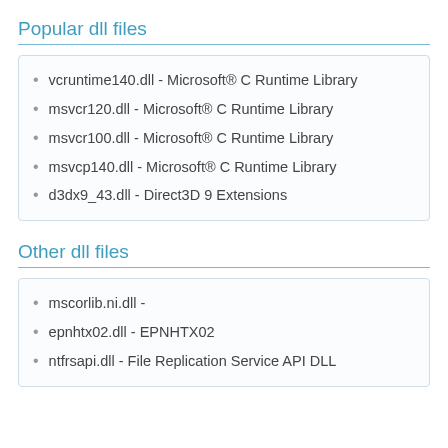Popular dll files
vcruntime140.dll - Microsoft® C Runtime Library
msvcr120.dll - Microsoft® C Runtime Library
msvcr100.dll - Microsoft® C Runtime Library
msvcp140.dll - Microsoft® C Runtime Library
d3dx9_43.dll - Direct3D 9 Extensions
Other dll files
mscorlib.ni.dll -
epnhtx02.dll - EPNHTX02
ntfrsapi.dll - File Replication Service API DLL